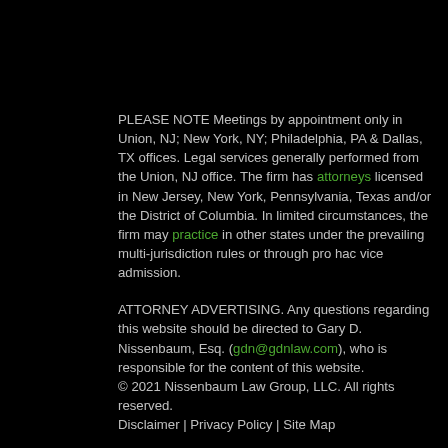PLEASE NOTE Meetings by appointment only in Union, NJ; New York, NY; Philadelphia, PA & Dallas, TX offices. Legal services generally performed from the Union, NJ office. The firm has attorneys licensed in New Jersey, New York, Pennsylvania, Texas and/or the District of Columbia. In limited circumstances, the firm may practice in other states under the prevailing multi-jurisdiction rules or through pro hac vice admission.
ATTORNEY ADVERTISING. Any questions regarding this website should be directed to Gary D. Nissenbaum, Esq. (gdn@gdnlaw.com), who is responsible for the content of this website. © 2021 Nissenbaum Law Group, LLC. All rights reserved. Disclaimer | Privacy Policy | Site Map